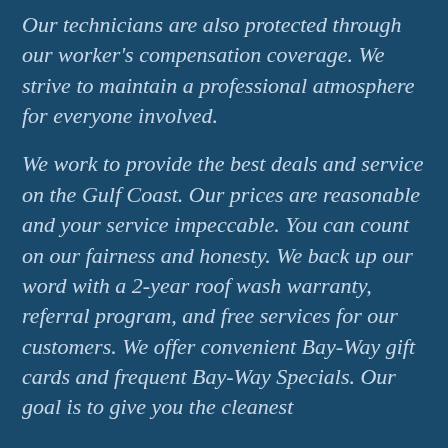Our technicians are also protected through our worker's compensation coverage. We strive to maintain a professional atmosphere for everyone involved.
We work to provide the best deals and service on the Gulf Coast. Our prices are reasonable and your service impeccable. You can count on our fairness and honesty. We back up our word with a 2-year roof wash warranty, referral program, and free services for our customers. We offer convenient Bay-Way gift cards and frequent Bay-Way Specials. Our goal is to give you the cleanest